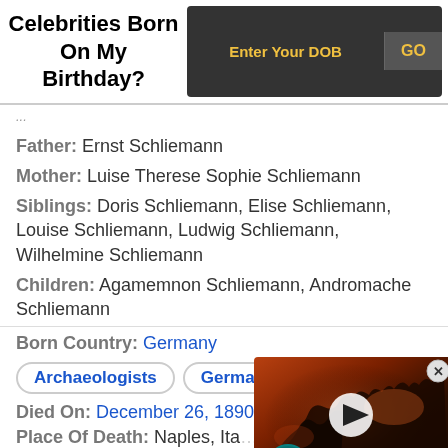Celebrities Born On My Birthday?
Enter Your DOB  GO
Father: Ernst Schliemann
Mother: Luise Therese Sophie Schliemann
Siblings: Doris Schliemann, Elise Schliemann, Louise Schliemann, Ludwig Schliemann, Wilhelmine Schliemann
Children: Agamemnon Schliemann, Andromache Schliemann
Born Country: Germany
Archaeologists
German
Died On: December 26, 1890
Place Of Death: Naples, Italy
[Figure (screenshot): Video player overlay with dark fire/creature background, white circular play button, mojo badge, and close button]